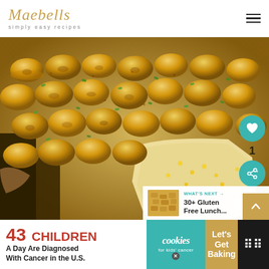Maebells simply easy recipes
[Figure (photo): Close-up photo of a tater tot casserole in a cast iron skillet, showing golden crispy tater tots topped with green onions and cheese, with the filling visible where a serving has been scooped out]
WHAT'S NEXT → 30+ Gluten Free Lunch...
43 CHILDREN A Day Are Diagnosed With Cancer in the U.S. cookies for kids' cancer Let's Get Baking